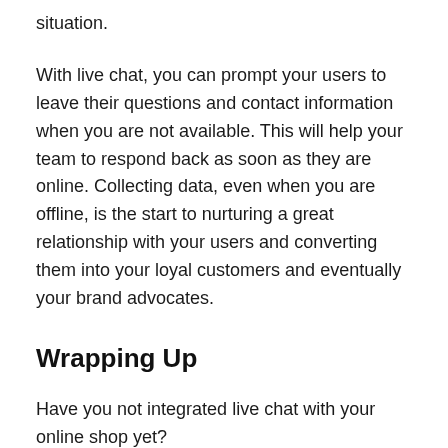situation.
With live chat, you can prompt your users to leave their questions and contact information when you are not available. This will help your team to respond back as soon as they are online. Collecting data, even when you are offline, is the start to nurturing a great relationship with your users and converting them into your loyal customers and eventually your brand advocates.
Wrapping Up
Have you not integrated live chat with your online shop yet?
Make the right move soon and contact Umnico to